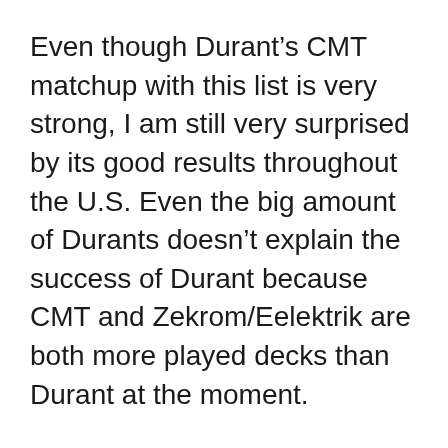Even though Durant's CMT matchup with this list is very strong, I am still very surprised by its good results throughout the U.S. Even the big amount of Durants doesn't explain the success of Durant because CMT and Zekrom/Eelektrik are both more played decks than Durant at the moment.
I don't like Durant because of its prizing factor, its flipping factor, and its very low Basic amount, but it seems like